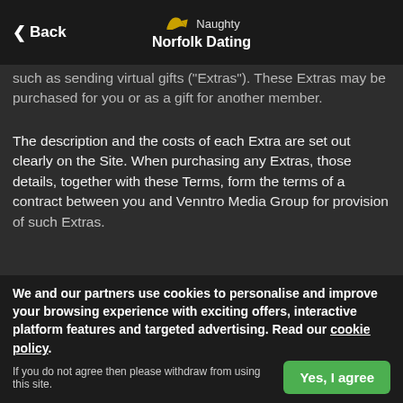Back | Naughty Norfolk Dating
such as sending virtual gifts ("Extras"). These Extras may be purchased for you or as a gift for another member.
The description and the costs of each Extra are set out clearly on the Site. When purchasing any Extras, those details, together with these Terms, form the terms of a contract between you and Venntro Media Group for provision of such Extras.
Extras are paid for by a virtual account of credits ("Credits"), linked to your account for the Service. You may elect to purchase additional Credits at any time by using the payment methods included on the Site. Once purchased, Credits may only be used for purchasing Extras and are not refundable in any circumstance.
If you have a Subscription with us, you will have the option to purchase bolt-ons at an additional cost. Unless stated otherwise, bolt-ons will be re-filled on a monthly basis until you cancel otherwise by using the settings on the Site or until your membership
We and our partners use cookies to personalise and improve your browsing experience with exciting offers, interactive platform features and targeted advertising. Read our cookie policy.
If you do not agree then please withdraw from using this site.